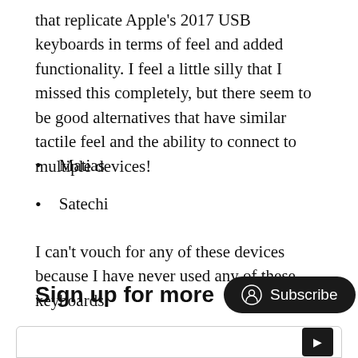that replicate Apple's 2017 USB keyboards in terms of feel and added functionality. I feel a little silly that I missed this completely, but there seem to be good alternatives that have similar tactile feel and the ability to connect to multiple devices!
Matias
Satechi
I can't vouch for any of these devices because I have never used any of these keyboards.
Sign up for more
[Figure (other): Subscribe button with user icon on dark pill-shaped background]
[Figure (other): Bottom input/form bar with a dark submit button on the right]